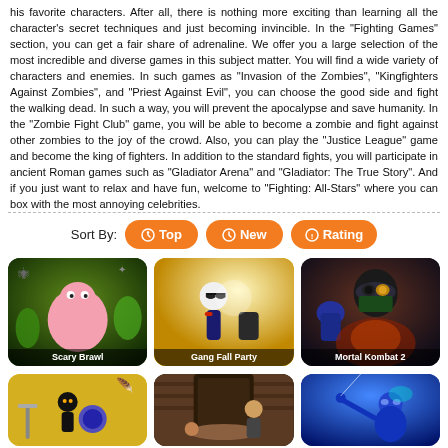his favorite characters. After all, there is nothing more exciting than learning all the character's secret techniques and just becoming invincible. In the "Fighting Games" section, you can get a fair share of adrenaline. We offer you a large selection of the most incredible and diverse games in this subject matter. You will find a wide variety of characters and enemies. In such games as "Invasion of the Zombies", "Kingfighters Against Zombies", and "Priest Against Evil", you can choose the good side and fight the walking dead. In such a way, you will prevent the apocalypse and save humanity. In the "Zombie Fight Club" game, you will be able to become a zombie and fight against other zombies to the joy of the crowd. Also, you can play the "Justice League" game and become the king of fighters. In addition to the standard fights, you will participate in ancient Roman games such as "Gladiator Arena" and "Gladiator: The True Story". And if you just want to relax and have fun, welcome to "Fighting: All-Stars" where you can box with the most annoying celebrities.
[Figure (infographic): Sort By bar with three buttons: Top, New, Rating (orange rounded buttons)]
[Figure (infographic): Game thumbnails grid row 1: Scary Brawl, Gang Fall Party, Mortal Kombat 2]
[Figure (infographic): Game thumbnails grid row 2 (partial): stickman game, street fight game, spider hero game]